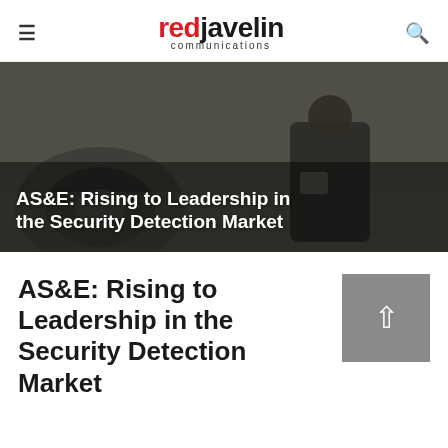≡  redjavelin communications  🔍
[Figure (photo): A security officer in black uniform and sunglasses crouching next to a vehicle wheel, inspecting the undercarriage. Dark overlay with text overlay.]
AS&E: Rising to Leadership in the Security Detection Market
AS&E: Rising to Leadership in the Security Detection Market